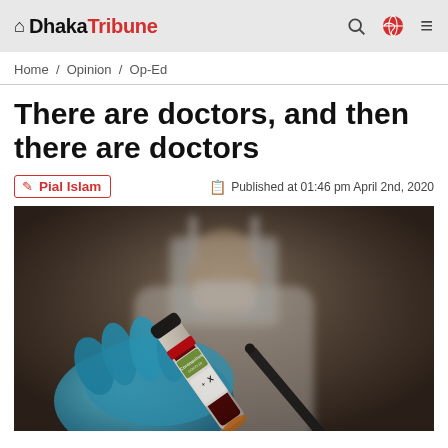Dhaka Tribune — Home / Opinion / Op-Ed
There are doctors, and then there are doctors
Pial Islam — Published at 01:46 pm April 2nd, 2020
[Figure (photo): A person in protective medical PPE and face shield holding a blood sample test tube labeled 'Coronavirus COVID-19' with blue gloved hand]